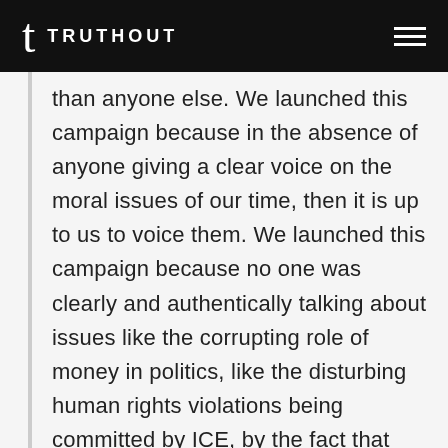TRUTHOUT
than anyone else. We launched this campaign because in the absence of anyone giving a clear voice on the moral issues of our time, then it is up to us to voice them. We launched this campaign because no one was clearly and authentically talking about issues like the corrupting role of money in politics, like the disturbing human rights violations being committed by ICE, by the fact that